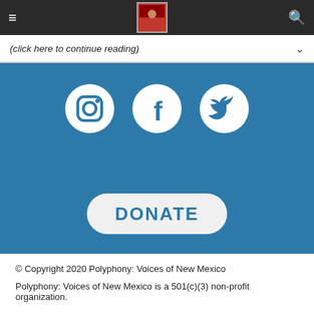Navigation bar with hamburger menu, logo, and search icon
(click here to continue reading)
[Figure (illustration): Blue section with Instagram, Facebook, and Twitter social media icons (white circles on teal/blue background), and a DONATE button (rounded rectangle with white background and blue text)]
© Copyright 2020 Polyphony: Voices of New Mexico
Polyphony: Voices of New Mexico is a 501(c)(3) non-profit organization.